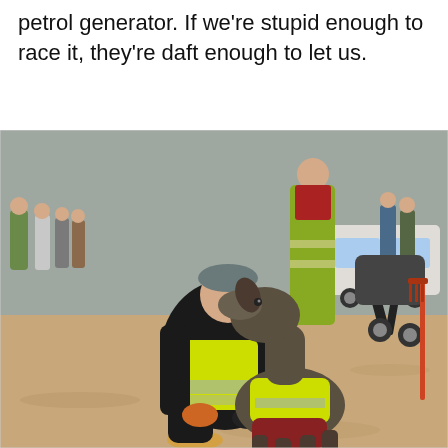petrol generator. If we're stupid enough to race it, they're daft enough to let us.
[Figure (photo): A person crouching down on sandy ground, wearing a black jacket and yellow/hi-vis vest with gloves, embracing a dog that is wearing a yellow hi-vis vest and a dark red coat. The dog appears to nuzzle the person's face. In the background there are other people, a pushchair/stroller, a vehicle, and a rake propped against something. The setting appears to be an outdoor event on a beach or muddy area.]